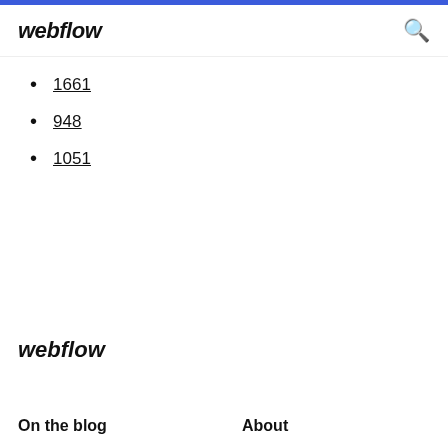webflow
1661
948
1051
webflow
On the blog
About
نافذة تنزيل 10 للكمبيوتر الشخصوبر
تحميل نهائيات كأس العالم 2018 الكمبيوتر